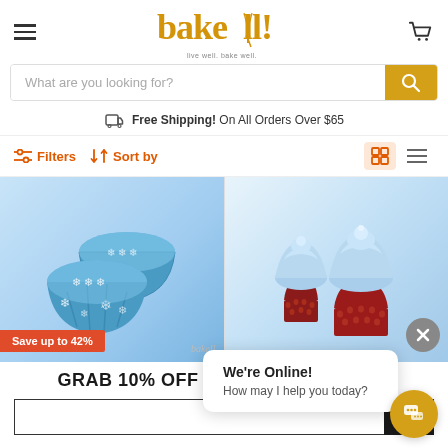[Figure (screenshot): Bakell website header with hamburger menu, logo and cart icon]
What are you looking for?
Free Shipping! On All Orders Over $65
Filters  Sort by
[Figure (photo): Blue snowflake cupcake liners baking cups product photo with Save up to 42% badge and Bakell watermark]
[Figure (photo): Red lace cupcake wrappers with blue frosted cupcakes product photo with close (X) button]
GRAB 10% OFF YOUR FIRST ORDER
We're Online! How may I help you today?